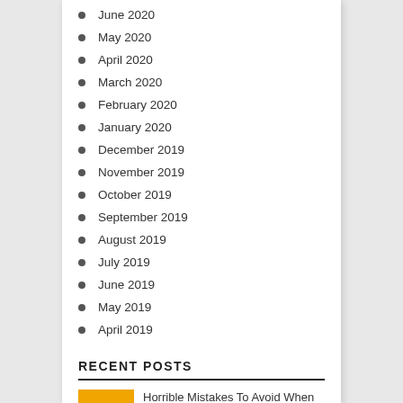June 2020
May 2020
April 2020
March 2020
February 2020
January 2020
December 2019
November 2019
October 2019
September 2019
August 2019
July 2019
June 2019
May 2019
April 2019
RECENT POSTS
Horrible Mistakes To Avoid When you (Do) Spoofing Vs. Phishing